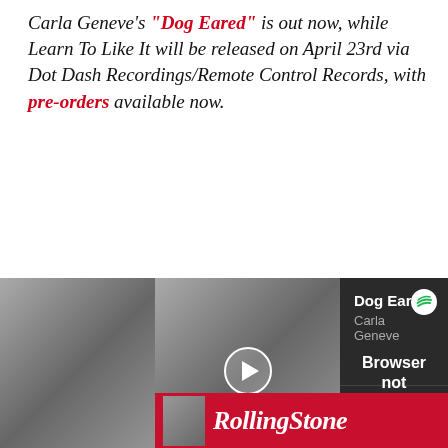Carla Geneve's "Dog Eared" is out now, while Learn To Like It will be released on April 23rd via Dot Dash Recordings/Remote Control Records, with pre-orders available now.
[Figure (screenshot): Spotify embedded player showing 'Dog Eared' by Carla Geneve with a 'Browser not compatible' overlay message and a tracklist below. A Rolling Stone magazine advertisement banner is at the bottom.]